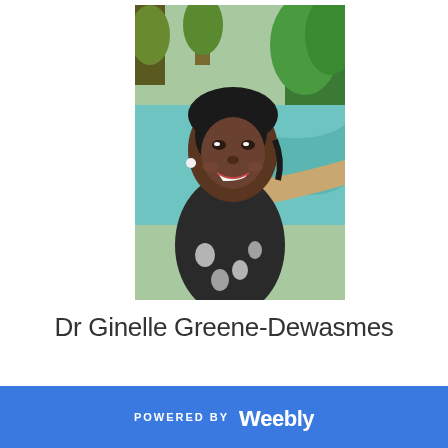[Figure (photo): Portrait photo of Dr Ginelle Greene-Dewasmes, a smiling woman wearing a floral top, with a tropical pool and greenery in the background.]
Dr Ginelle Greene-Dewasmes
POWERED BY weebly